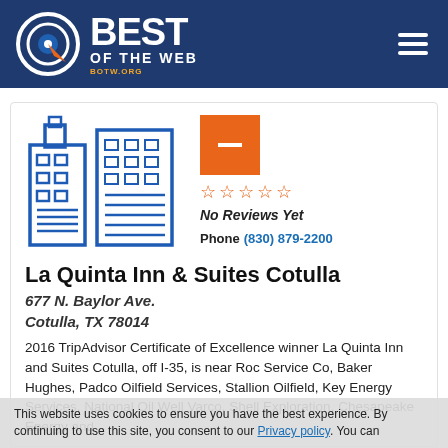BEST OF THE WEB — botw.org
[Figure (illustration): Building/skyscraper icon in blue outline style]
No Reviews Yet — ☆☆☆☆☆
Phone (830) 879-2200
La Quinta Inn & Suites Cotulla
677 N. Baylor Ave.
Cotulla, TX 78014
2016 TripAdvisor Certificate of Excellence winner La Quinta Inn and Suites Cotulla, off I-35, is near Roc Service Co, Baker Hughes, Padco Oilfield Services, Stallion Oilfield, Key Energy Services, National Oil Well Varco, Shell Exploration, Chesapeake Energy and
This website uses cookies to ensure you have the best experience. By continuing to use this site, you consent to our Privacy policy. You can